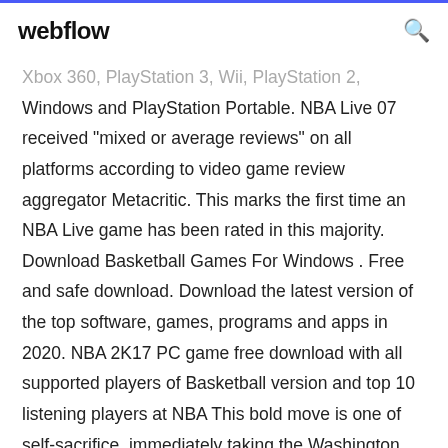webflow
Xbox 360, PlayStation 3, Wii, PlayStation 2, Windows and PlayStation Portable. NBA Live 07 received "mixed or average reviews" on all platforms according to video game review aggregator Metacritic. This marks the first time an NBA Live game has been rated in this majority. Download Basketball Games For Windows . Free and safe download. Download the latest version of the top software, games, programs and apps in 2020. NBA 2K17 PC game free download with all supported players of Basketball version and top 10 listening players at NBA This bold move is one of self-sacrifice, immediately taking the Washington Wizards and Toronto Raptors off the hook for having the